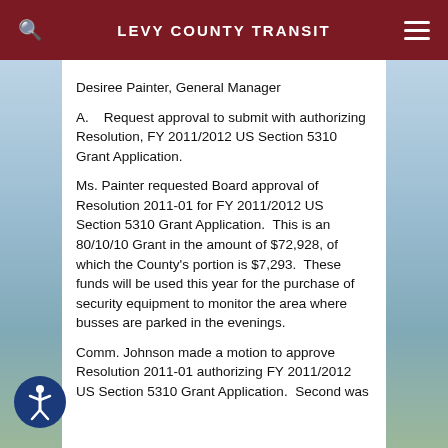LEVY COUNTY TRANSIT
Desiree Painter, General Manager
A.    Request approval to submit with authorizing Resolution, FY 2011/2012 US Section 5310 Grant Application.
Ms. Painter requested Board approval of Resolution 2011-01 for FY 2011/2012 US Section 5310 Grant Application.  This is an 80/10/10 Grant in the amount of $72,928, of which the County's portion is $7,293.  These funds will be used this year for the purchase of security equipment to monitor the area where busses are parked in the evenings.
Comm. Johnson made a motion to approve Resolution 2011-01 authorizing FY 2011/2012 US Section 5310 Grant Application.  Second was